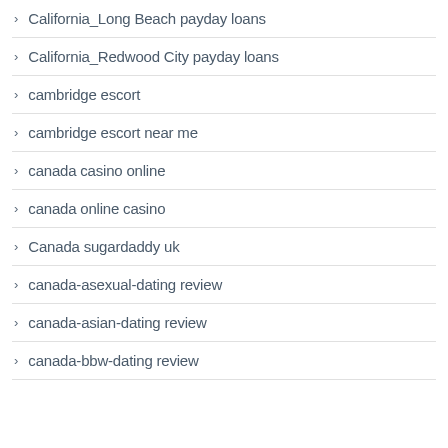California_Long Beach payday loans
California_Redwood City payday loans
cambridge escort
cambridge escort near me
canada casino online
canada online casino
Canada sugardaddy uk
canada-asexual-dating review
canada-asian-dating review
canada-bbw-dating review